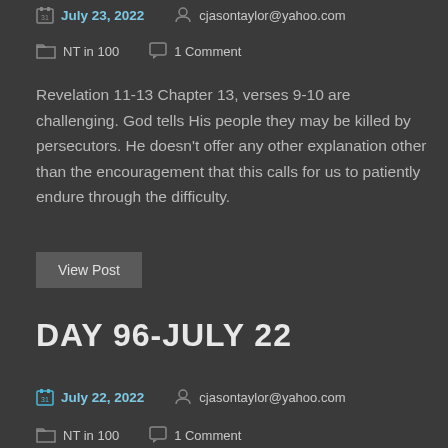July 23, 2022   cjasontaylor@yahoo.com
NT in 100   1 Comment
Revelation 11-13 Chapter 13, verses 9-10 are challenging. God tells His people they may be killed by persecutors. He doesn't offer any other explanation other than the encouragement that this calls for us to patiently endure through the difficulty.
View Post
DAY 96-JULY 22
July 22, 2022   cjasontaylor@yahoo.com
NT in 100   1 Comment